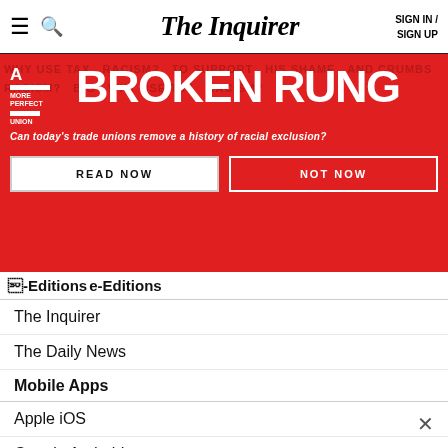The Inquirer — SIGN IN / SIGN UP
[Figure (infographic): Red banner advertisement for 'BROKEN RUNG' series by A More Perfect Union. Tagline: Can today's trade unions remove a history of racial exclusion? Two buttons: READ NOW and NOT NOW.]
e-Editions
The Inquirer
The Daily News
Mobile Apps
Apple iOS
Google Android